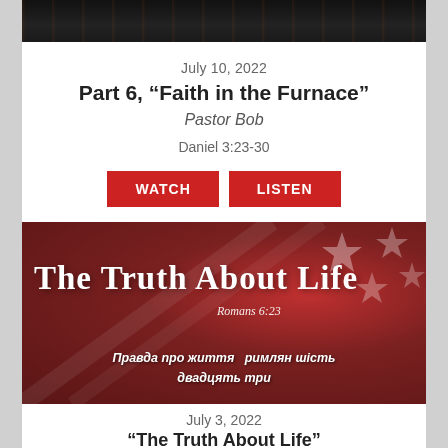[Figure (photo): Dark city street photo at top of page]
July 10, 2022
Part 6, “Faith in the Furnace”
Pastor Bob
Daniel 3:23-30
[Figure (other): WATCH and LISTEN buttons (red)]
[Figure (photo): The Truth About Life - Romans 6:23 banner image with American flag background in red tones and Ukrainian text]
July 3, 2022
“The Truth About Life”